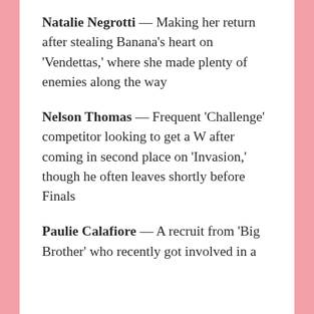Natalie Negrotti — Making her return after stealing Banana's heart on 'Vendettas,' where she made plenty of enemies along the way
Nelson Thomas — Frequent 'Challenge' competitor looking to get a W after coming in second place on 'Invasion,' though he often leaves shortly before Finals
Paulie Calafiore — A recruit from 'Big Brother' who recently got involved in a